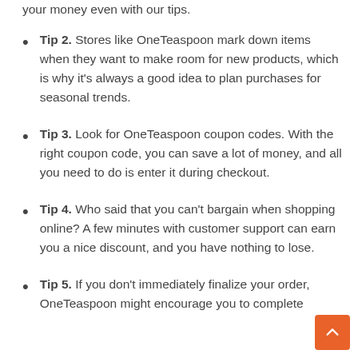your money even with our tips.
Tip 2. Stores like OneTeaspoon mark down items when they want to make room for new products, which is why it's always a good idea to plan purchases for seasonal trends.
Tip 3. Look for OneTeaspoon coupon codes. With the right coupon code, you can save a lot of money, and all you need to do is enter it during checkout.
Tip 4. Who said that you can't bargain when shopping online? A few minutes with customer support can earn you a nice discount, and you have nothing to lose.
Tip 5. If you don't immediately finalize your order, OneTeaspoon might encourage you to complete